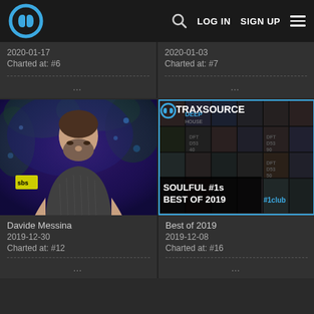Traxsource navigation — LOG IN   SIGN UP
2020-01-17
Charted at: #6
2020-01-03
Charted at: #7
[Figure (photo): DJ Davide Messina performing, lit with purple-blue lighting, 'sbs' yellow label visible]
Davide Messina
2019-12-30
Charted at: #12
[Figure (illustration): Traxsource Soulful #1s Best of 2019 compilation cover with blue border and #1club hashtag]
Best of 2019
2019-12-08
Charted at: #16